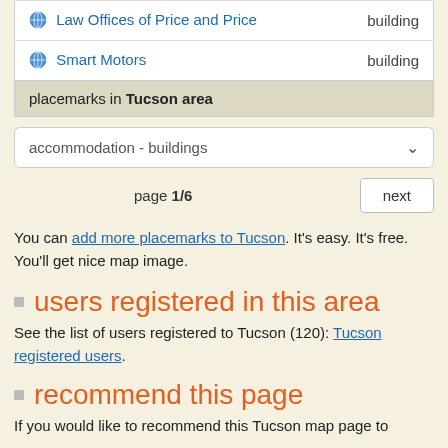| Name | Type |
| --- | --- |
| Law Offices of Price and Price | building |
| Smart Motors | building |
| placemarks in Tucson area |  |
accommodation - buildings
page 1/6   next
You can add more placemarks to Tucson. It's easy. It's free. You'll get nice map image.
users registered in this area
See the list of users registered to Tucson (120): Tucson registered users.
recommend this page
If you would like to recommend this Tucson map page to